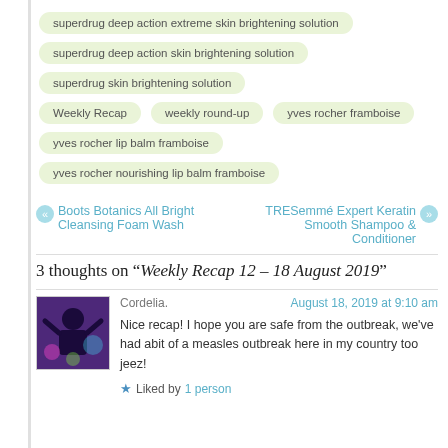superdrug deep action extreme skin brightening solution
superdrug deep action skin brightening solution
superdrug skin brightening solution
Weekly Recap
weekly round-up
yves rocher framboise
yves rocher lip balm framboise
yves rocher nourishing lip balm framboise
« Boots Botanics All Bright Cleansing Foam Wash   TRESemmé Expert Keratin Smooth Shampoo & Conditioner »
3 thoughts on “Weekly Recap 12 – 18 August 2019”
[Figure (photo): Avatar image of commenter Cordelia, showing a stylized figure silhouette against a colorful purple/blue background]
Cordelia.
August 18, 2019 at 9:10 am
Nice recap! I hope you are safe from the outbreak, we've had abit of a measles outbreak here in my country too jeez!
★ Liked by 1 person